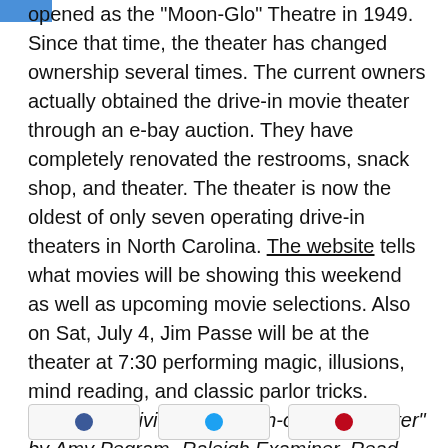opened as the "Moon-Glo" Theatre in 1949. Since that time, the theater has changed ownership several times. The current owners actually obtained the drive-in movie theater through an e-bay auction. They have completely renovated the restrooms, snack shop, and theater. The theater is now the oldest of only seven operating drive-in theaters in North Carolina. The website tells what movies will be showing this weekend as well as upcoming movie selections. Also on Sat, July 4, Jim Passe will be at the theater at 7:30 performing magic, illusions, mind reading, and classic parlor tricks. Source: "Activity for July 4th-outdoor theater" by Amy Pegram -Raleigh Examiner. Read full article at: http://www.examiner.com/x-14154-Raleigh-Infertility--Miscarriage-Examiner~y2009m7d2-July-4-activity.